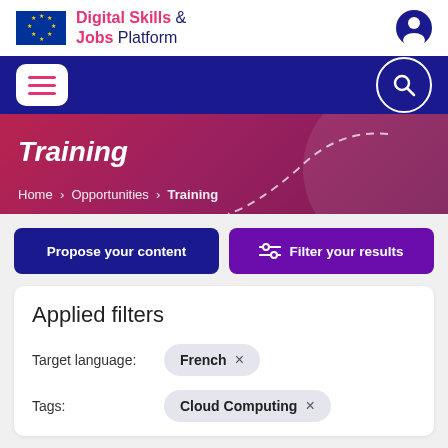Digital Skills & Jobs Platform
[Figure (screenshot): EU flag logo and site navigation with menu and search icons]
Training
Home > Opportunities > Training
Propose your content
Filter your results
Applied filters
Target language: French ×
Tags: Cloud Computing ×